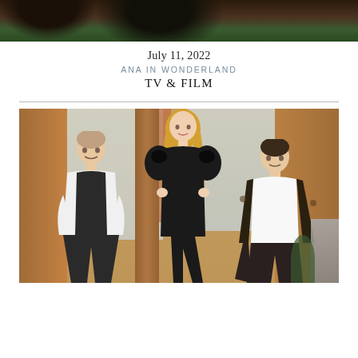[Figure (photo): Cropped top portion of a photo showing dark background with plants and foliage]
July 11, 2022
ANA IN WONDERLAND
TV & FILM
[Figure (photo): A blonde woman in a black dress with dramatic puffed sleeves stands center, with two men in suits seated on either side, in a warm-toned room with curtains and windows]